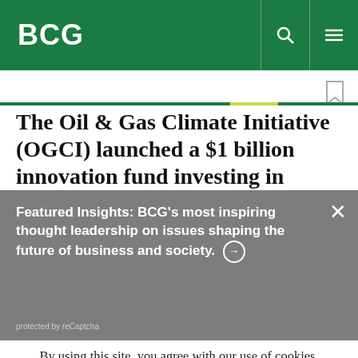BCG
The Oil & Gas Climate Initiative (OGCI) launched a $1 billion innovation fund investing in
Featured Insights: BCG's most inspiring thought leadership on issues shaping the future of business and society. →
protected by reCaptcha
By using this site, you agree with our use of cookies.
I consent to cookies
Want to know more?
Read our Cookie Policy